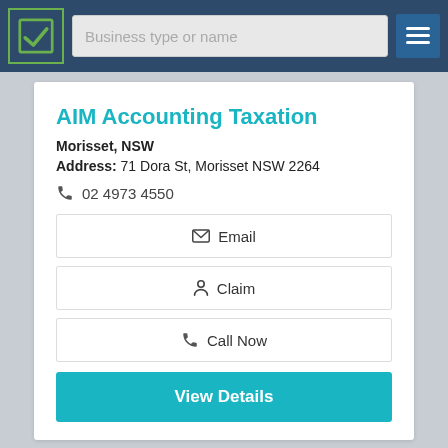[Figure (screenshot): Navigation bar with logo, search field 'Business type or name', and hamburger menu icon]
AIM Accounting Taxation
Morisset, NSW
Address: 71 Dora St, Morisset NSW 2264
02 4973 4550
Email
Claim
Call Now
View Details